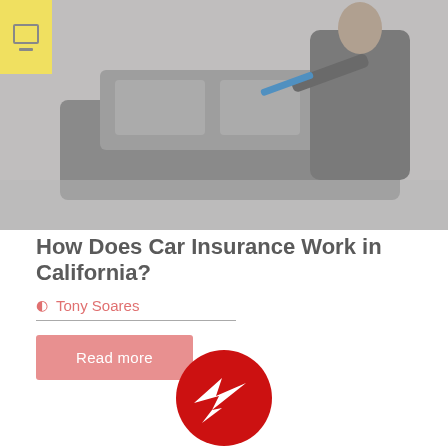[Figure (photo): Person in a suit inspecting a car with a pen/stylus, photo shown in grayscale/muted tones with a yellow badge overlay in top-left corner]
How Does Car Insurance Work in California?
Tony Soares
Read more
[Figure (logo): Red circular logo with a white stylized bird/lightning bolt silhouette inside]